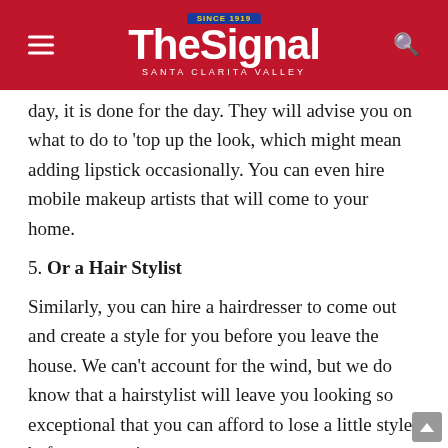The Signal — Santa Clarita Valley
day, it is done for the day. They will advise you on what to do to 'top up the look, which might mean adding lipstick occasionally. You can even hire mobile makeup artists that will come to your home.
5. Or a Hair Stylist
Similarly, you can hire a hairdresser to come out and create a style for you before you leave the house. We can't account for the wind, but we do know that a hairstylist will leave you looking so exceptional that you can afford to lose a little style before you arrive.